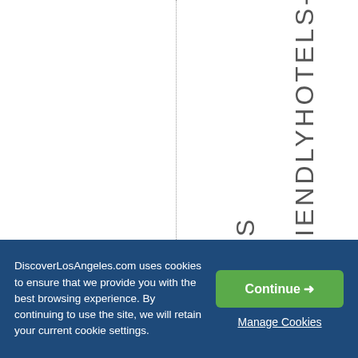[Figure (other): White background with a vertical dotted line and vertical text reading '-FRIENDLYHOTELS-N-LOS-AN' rotated 90 degrees]
DiscoverLosAngeles.com uses cookies to ensure that we provide you with the best browsing experience. By continuing to use the site, we will retain your current cookie settings.
Continue →
Manage Cookies